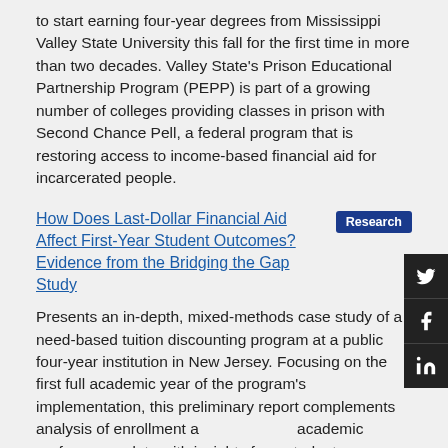to start earning four-year degrees from Mississippi Valley State University this fall for the first time in more than two decades. Valley State's Prison Educational Partnership Program (PEPP) is part of a growing number of colleges providing classes in prison with Second Chance Pell, a federal program that is restoring access to income-based financial aid for incarcerated people.
How Does Last-Dollar Financial Aid Affect First-Year Student Outcomes? Evidence from the Bridging the Gap Study
Presents an in-depth, mixed-methods case study of a need-based tuition discounting program at a public four-year institution in New Jersey. Focusing on the first full academic year of the program's implementation, this preliminary report complements analysis of enrollment and academic performance data with insights from student interviews.
College students return to Nebraska...